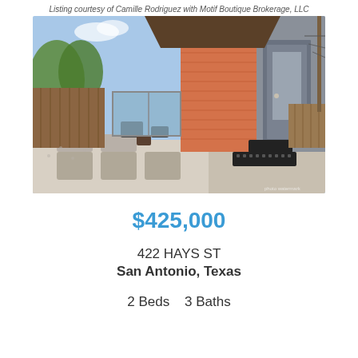Listing courtesy of Camille Rodriguez with Motif Boutique Brokerage, LLC
[Figure (photo): Exterior photo of a modern home at 422 Hays St, San Antonio, showing orange/gray siding, a front door, and a gravel/stone patio with outdoor seating and wood fence in background.]
$425,000
422 HAYS ST
San Antonio, Texas
2 Beds   3 Baths